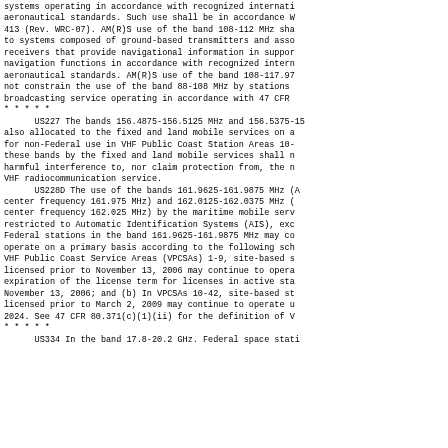systems operating in accordance with recognized internati
aeronautical standards. Such use shall be in accordance W
413 (Rev. WRC-07). AM(R)S use of the band 108-112 MHz sha
to systems composed of ground-based transmitters and asso
receivers that provide navigational information in suppor
navigation functions in accordance with recognized intern
aeronautical standards. AM(R)S use of the band 108-117.97
not constrain the use of the band 88-108 MHz by stations
broadcasting service operating in accordance with 47 CFR
* * * * *
US227 The bands 156.4875-156.5125 MHz and 156.5375-15
also allocated to the fixed and land mobile services on a
for non-Federal use in VHF Public Coast Station Areas 10-
these bands by the fixed and land mobile services shall n
harmful interference to, nor claim protection from, the n
VHF radiocommunication service.
US228D The use of the bands 161.9625-161.9875 MHz (A
center frequency 161.975 MHz) and 162.0125-162.0375 MHz (
center frequency 162.025 MHz) by the maritime mobile serv
restricted to Automatic Identification Systems (AIS), exc
Federal stations in the band 161.9625-161.9875 MHz may co
operate on a primary basis according to the following sch
VHF Public Coast Service Areas (VPCSAs) 1-9, site-based s
licensed prior to November 13, 2006 may continue to opera
expiration of the license term for licenses in active sta
November 13, 2006; and (b) In VPCSAs 10-42, site-based st
licensed prior to March 2, 2009 may continue to operate u
2024. See 47 CFR 80.371(c)(1)(ii) for the definition of V
* * * * *
US334 In the band 17.8-20.2 GHz. Federal space stati